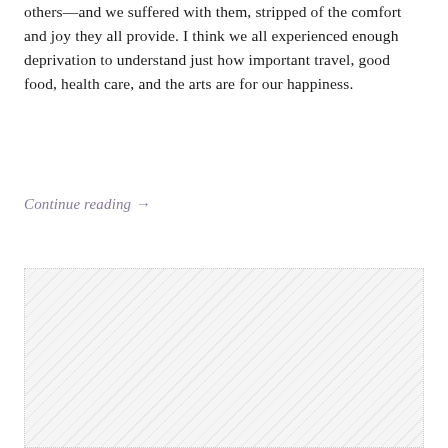others—and we suffered with them, stripped of the comfort and joy they all provide. I think we all experienced enough deprivation to understand just how important travel, good food, health care, and the arts are for our happiness.
Continue reading →
[Figure (other): A hatched/textured placeholder image area with dotted border]